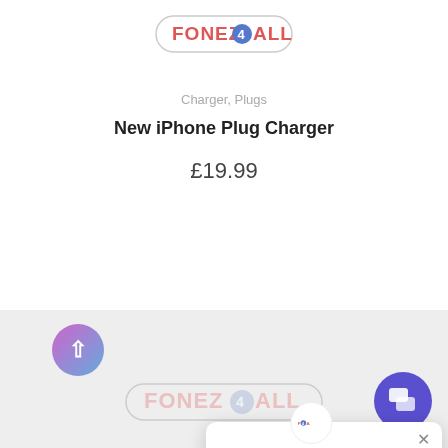[Figure (logo): FONEZ4ALL logo at top of page]
Charger, Plugs
New iPhone Plug Charger
£19.99
By using our site, you acknowledge that you read and understand our Cookie Policy.
Cookie settings
Accept
[Figure (screenshot): Chat popup with Fonez4All logo, close button, and text: Got any questions? I'm happy to help.]
[Figure (logo): FONEZ4ALL watermark logo at bottom]